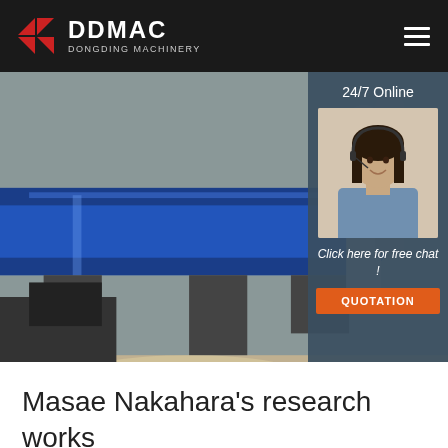[Figure (logo): DDMAC Dongding Machinery logo with red geometric icon and white text on dark header bar, with hamburger menu icon on right]
[Figure (photo): Industrial factory interior showing a large blue rotating drum/rotary kiln machine in a warehouse setting with steel structure visible in background. Overlay panel on right shows '24/7 Online' text, a female customer service agent wearing headset, 'Click here for free chat!' text, and an orange QUOTATION button.]
Masae Nakahara's research works